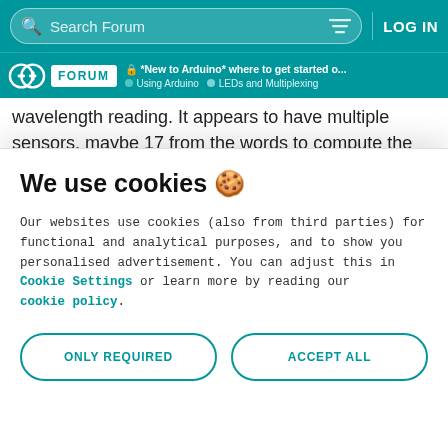Search Forum | LOG IN
*New to Arduino* where to get started o... | Using Arduino | LEDs and Multiplexing
wavelength reading. It appears to have multiple sensors, maybe 17 from the words to compute the colour of an LED lighting system.
As I said you can not change the wavelength of an LED. If you
We use cookies 🍪
Our websites use cookies (also from third parties) for functional and analytical purposes, and to show you personalised advertisement. You can adjust this in Cookie Settings or learn more by reading our cookie policy.
ONLY REQUIRED
ACCEPT ALL